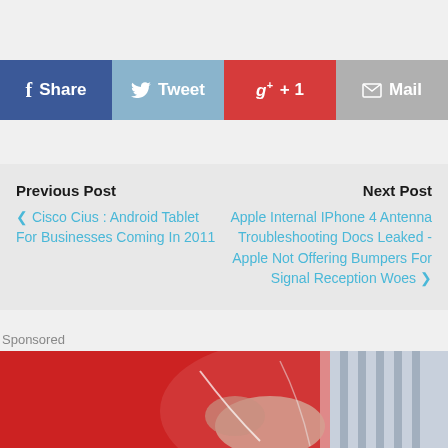[Figure (screenshot): Social share bar with four buttons: Facebook Share (dark blue), Twitter Tweet (light blue), Google +1 (red), Mail (gray)]
Previous Post
< Cisco Cius : Android Tablet For Businesses Coming In 2011
Next Post
Apple Internal IPhone 4 Antenna Troubleshooting Docs Leaked - Apple Not Offering Bumpers For Signal Reception Woes >
Sponsored
[Figure (photo): Partial photo of a person in red clothing holding shopping bags, with a striped sleeve visible on the right side.]